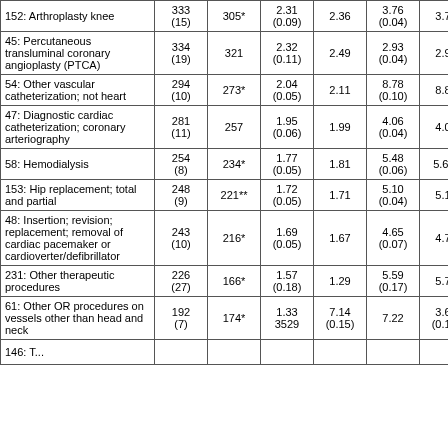| Procedure | Col1 | Col2 | Col3 | Col4 | Col5 | Col6 | Col7 |
| --- | --- | --- | --- | --- | --- | --- | --- |
| 152: Arthroplasty knee | 333 (15) | 305* | 2.31 (0.09) | 2.36 | 3.76 (0.04) | 3.75 | (0.0... |
| 45: Percutaneous transluminal coronary angioplasty (PTCA) | 334 (19) | 321 | 2.32 (0.11) | 2.49 | 2.93 (0.04) | 2.96 | 1. (0.0... |
| 54: Other vascular catheterization; not heart | 294 (10) | 273* | 2.04 (0.05) | 2.11 | 8.78 (0.10) | 8.88 | 9. (0.2... |
| 47: Diagnostic cardiac catheterization; coronary arteriography | 281 (11) | 257 | 1.95 (0.06) | 1.99 | 4.06 (0.04) | 4.07 | 1. (0.0... |
| 58: Hemodialysis | 254 (8) | 234* | 1.77 (0.05) | 1.81 | 5.48 (0.06) | 5.63* | 2. (0.0... |
| 153: Hip replacement; total and partial | 248 (9) | 221** | 1.72 (0.05) | 1.71 | 5.10 (0.04) | 5.11 | 1. (0.0... |
| 48: Insertion; revision; replacement; removal of cardiac pacemaker or cardioverter/defibrillator | 243 (10) | 216* | 1.69 (0.05) | 1.67 | 4.65 (0.07) | 4.79 | 1. (0.0... |
| 231: Other therapeutic procedures | 226 (27) | 166* | 1.57 (0.18) | 1.29 | 5.59 (0.17) | 5.77 | 5. (0.3... |
| 61: Other OR procedures on vessels other than head and neck | 192 (7) | 174* | 1.33 3529 | 7.14 (0.15) | 7.22 | 3.65 (0.15) | 3.... |